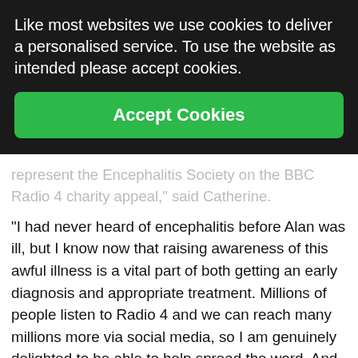[Figure (screenshot): Cookie consent overlay with dark background and green Accept Cookies button. Text reads: 'Like most websites we use cookies to deliver a personalised service. To use the website as intended please accept cookies.' with a green 'Accept Cookies' button below.]
represent the Encephalitis Society on the BBC Radio 4 charity appeal," said Catherine.
"I had never heard of encephalitis before Alan was ill, but I know now that raising awareness of this awful illness is a vital part of both getting an early diagnosis and appropriate treatment. Millions of people listen to Radio 4 and we can reach many millions more via social media, so I am genuinely delighted to be able to help spread the word. And of course, I hope that the appeal will raise much needed funds for the Society!"
She added: "I really want to get across to the listeners...